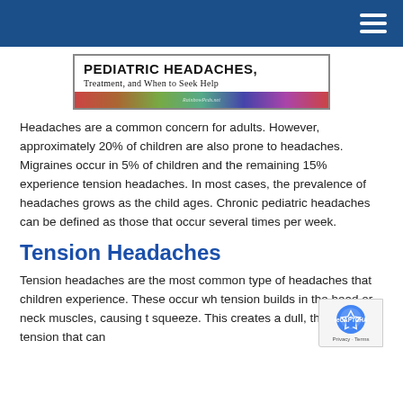[Figure (illustration): Banner image with text 'PEDIATRIC HEADACHES, Treatment, and When to Seek Help' with a colorful photo strip at the bottom showing children]
Headaches are a common concern for adults. However, approximately 20% of children are also prone to headaches. Migraines occur in 5% of children and the remaining 15% experience tension headaches. In most cases, the prevalence of headaches grows as the child ages. Chronic pediatric headaches can be defined as those that occur several times per week.
Tension Headaches
Tension headaches are the most common type of headaches that children experience. These occur wh tension builds in the head or neck muscles, causing t squeeze. This creates a dull, throbbing tension that can